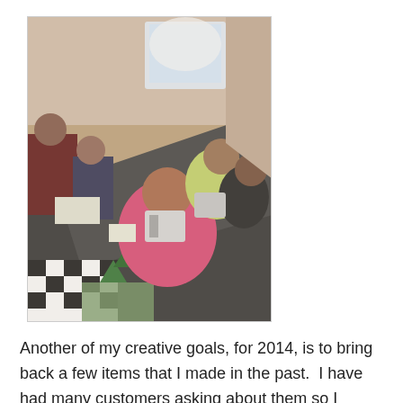[Figure (photo): A group of people sitting around a long table working on sewing/quilting projects. There are sewing machines on the table and fabric pieces including a black-and-white checkered pattern and Christmas tree fabric. The setting appears to be an indoor room with a window in the background.]
Another of my creative goals, for 2014, is to bring back a few items that I made in the past.  I have had many customers asking about them so I thought I would reinvent